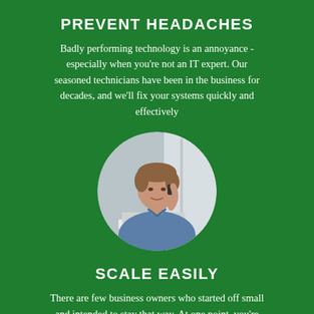PREVENT HEADACHES
Badly performing technology is an annoyance - especially when you're not an IT expert. Our seasoned technicians have been in the business for decades, and we'll fix your systems quickly and effectively
[Figure (photo): Circular photo of a man in a blue shirt smiling and talking on the phone while using a laptop]
SCALE EASILY
There are few business owners who started off small and intended to stay that way. At one point, you're likely going to want to scale - and we have just the IT